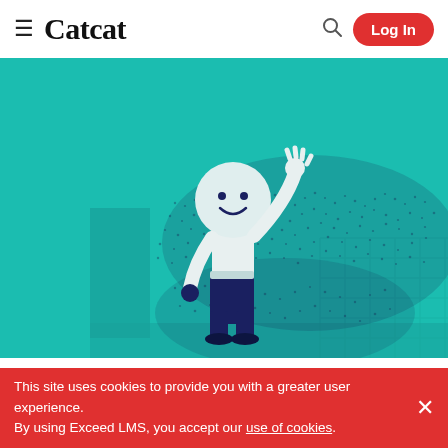≡ Catcat [search] Log In
[Figure (illustration): Teal/turquoise background with a cartoon figure: a smiling white circular head, white torso, dark navy trousers and shoes, one arm raised in a wave. Dark stippled cloud-like shapes surround the figure on a teal background with faint grid lines.]
♡ Favorites   < Share
This site uses cookies to provide you with a greater user experience. By using Exceed LMS, you accept our use of cookies.